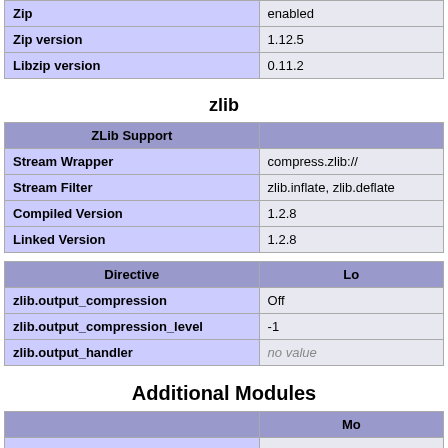| Zip | enabled |
| --- | --- |
| Zip version | 1.12.5 |
| Libzip version | 0.11.2 |
zlib
| ZLib Support |  |
| --- | --- |
| Stream Wrapper | compress.zlib:// |
| Stream Filter | zlib.inflate, zlib.deflate |
| Compiled Version | 1.2.8 |
| Linked Version | 1.2.8 |
| Directive | Lo |
| --- | --- |
| zlib.output_compression | Off |
| zlib.output_compression_level | -1 |
| zlib.output_handler | no value |
Additional Modules
|  | Mo |
| --- | --- |
| (truncated) |  |